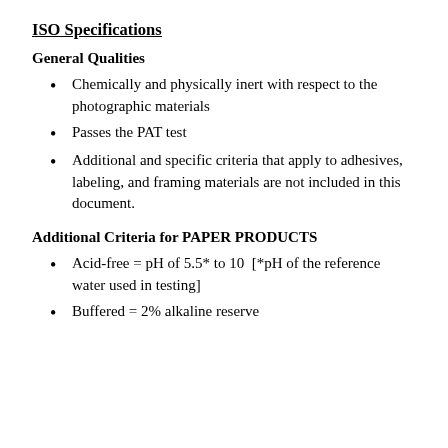ISO Specifications
General Qualities
Chemically and physically inert with respect to the photographic materials
Passes the PAT test
Additional and specific criteria that apply to adhesives, labeling, and framing materials are not included in this document.
Additional Criteria for PAPER PRODUCTS
Acid-free = pH of 5.5* to 10  [*pH of the reference water used in testing]
Buffered = 2% alkaline reserve